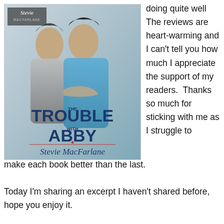[Figure (illustration): Book cover for 'The Trouble With Abby' by Stevie MacFarlane, showing two women, one in blue top and one in grey, with the book title and author name displayed.]
doing quite well The reviews are heart-warming and I can't tell you how much I appreciate the support of my readers.  Thanks so much for sticking with me as I struggle to make each book better than the last.
Today I'm sharing an excerpt I haven't shared before, hope you enjoy it.